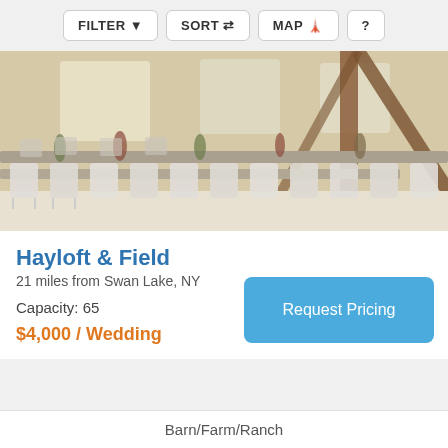FILTER  SORT  MAP  ?
[Figure (photo): Interior of a barn wedding venue with long tables, white folding chairs, wooden beams, and floral centerpieces.]
Hayloft & Field
21 miles from Swan Lake, NY
Capacity: 65
Request Pricing
$4,000 / Wedding
Barn/Farm/Ranch